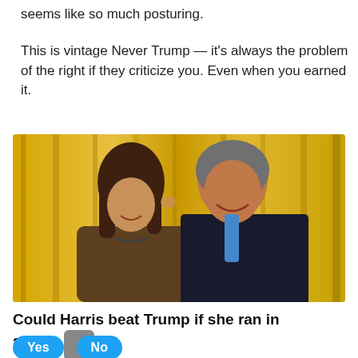seems like so much posturing.
This is vintage Never Trump — it's always the problem of the right if they criticize you. Even when you earned it.
[Figure (photo): A woman with brown hair in a brown jacket leans her head against a smiling man in a dark suit with a blue tie, in front of yellow curtains.]
Could Harris beat Trump if she ran in 2024?
Yes   No